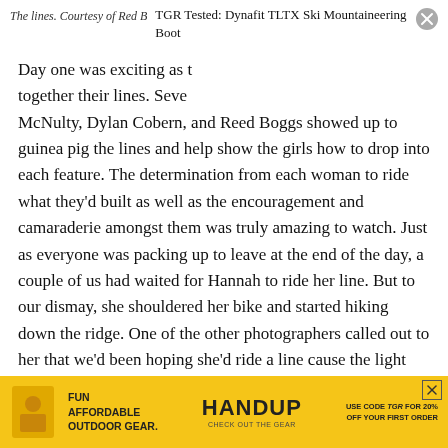The lines. Courtesy of Red B…
TGR Tested: Dynafit TLTX Ski Mountaineering Boot
Day one was exciting as … together their lines. Seve… McNulty, Dylan Cobern, and Reed Boggs showed up to guinea pig the lines and help show the girls how to drop into each feature. The determination from each woman to ride what they’d built as well as the encouragement and camaraderie amongst them was truly amazing to watch. Just as everyone was packing up to leave at the end of the day, a couple of us had waited for Hannah to ride her line. But to our dismay, she shouldered her bike and started hiking down the ridge. One of the other photographers called out to her that we’d been hoping she’d ride a line cause the light was so good. I’d already moved from my perch
[Figure (infographic): HANDUP advertisement banner: FUN AFFORDABLE OUTDOOR GEAR. HANDUP CHECK OUT THE GEAR. USE CODE TGR FOR 20% OFF YOUR FIRST ORDER]